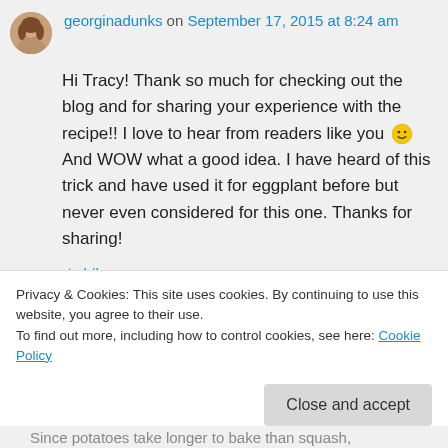georginadunks on September 17, 2015 at 8:24 am
Hi Tracy! Thank so much for checking out the blog and for sharing your experience with the recipe!! I love to hear from readers like you 🙂 And WOW what a good idea. I have heard of this trick and have used it for eggplant before but never even considered for this one. Thanks for sharing!
Like
Privacy & Cookies: This site uses cookies. By continuing to use this website, you agree to their use. To find out more, including how to control cookies, see here: Cookie Policy
Close and accept
Since potatoes take longer to bake than squash,